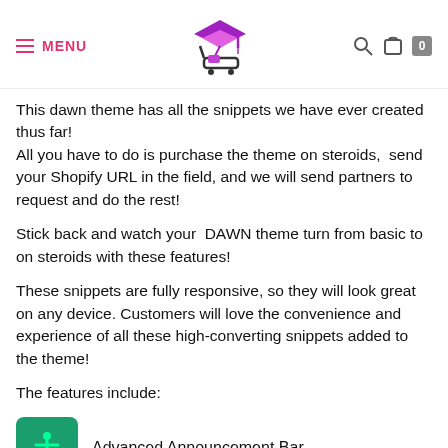MENU [logo] [search] [bag] 0
This dawn theme has all the snippets we have ever created thus far! All you have to do is purchase the theme on steroids, send your Shopify URL in the field, and we will send partners to request and do the rest!
Stick back and watch your DAWN theme turn from basic to on steroids with these features!
These snippets are fully responsive, so they will look great on any device. Customers will love the convenience and experience of all these high-converting snippets added to the theme!
The features include:
Advanced Announcement Bar
Custom HTML